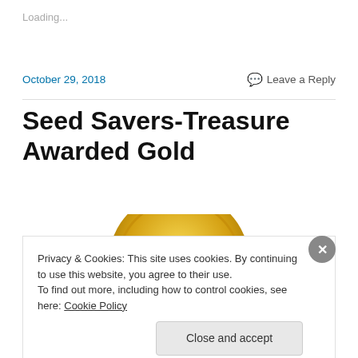Loading...
October 29, 2018
Leave a Reply
Seed Savers-Treasure Awarded Gold
[Figure (photo): Partial view of a gold medallion award seal with text 'S CHOICE A' visible]
Privacy & Cookies: This site uses cookies. By continuing to use this website, you agree to their use.
To find out more, including how to control cookies, see here: Cookie Policy
Close and accept